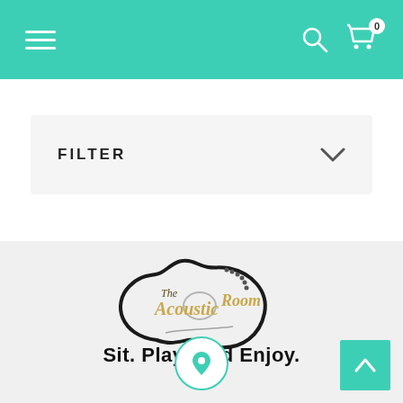Navigation bar with hamburger menu, search icon, and cart (0)
FILTER
[Figure (logo): The Acoustic Room logo — guitar body silhouette outline in black with golden script text 'The Acoustic Room' and dotted tuning pegs]
Sit. Play. And Enjoy.
[Figure (other): Location pin icon inside a teal-bordered circle]
[Figure (other): Back-to-top button — teal square with white upward chevron]